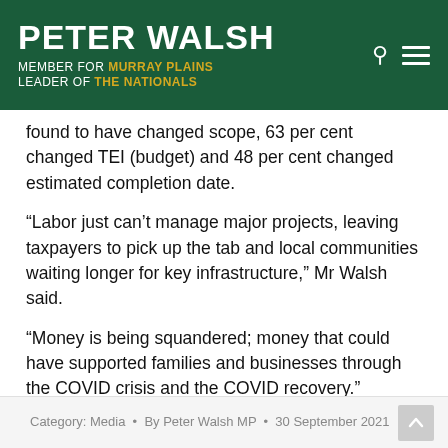PETER WALSH MEMBER FOR MURRAY PLAINS LEADER OF THE NATIONALS
found to have changed scope, 63 per cent changed TEI (budget) and 48 per cent changed estimated completion date.
“Labor just can’t manage major projects, leaving taxpayers to pick up the tab and local communities waiting longer for key infrastructure,” Mr Walsh said.
“Money is being squandered; money that could have supported families and businesses through the COVID crisis and the COVID recovery.”
Category: Media • By Peter Walsh MP • 30 September 2021